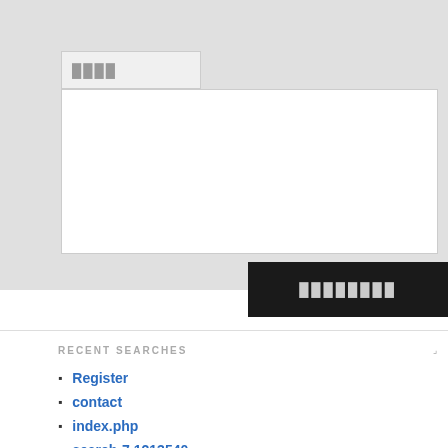[Figure (screenshot): A web form UI showing a subject input field with placeholder text (block characters) and a large textarea below it, all on a gray background. A dark submit button with block characters is positioned at the bottom right of the form area.]
RECENT SEARCHES
Register
contact
index.php
search-7.1213540